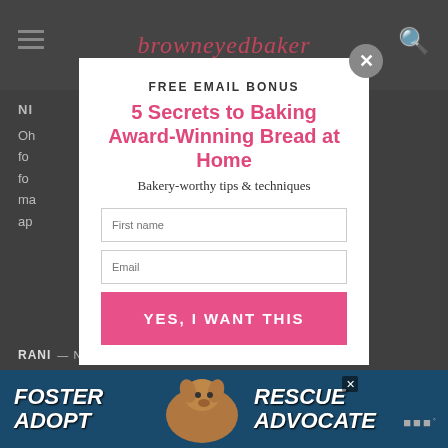browneyed baker
NI
Oh ... g for ... e | fo ... ma ... ap ...
[Figure (infographic): Email signup modal popup with FREE EMAIL BONUS headline, '5 Secrets to Baking Award-Winning Bread at Home' in pink, 'Bakery-worthy tips & techniques' subheadline, First name and Email input fields, and a pink 'YES, I WANT THIS' button. A grey X close button in the top right corner.]
RANI — NOVEMBER 24, 2011 @ 11:22 AM REPLY
[Figure (photo): Advertisement banner at the bottom with a dog photo and text FOSTER ADOPT RESCUE ADVOCATE on a dark blue background, with close button and Mediavine logo.]